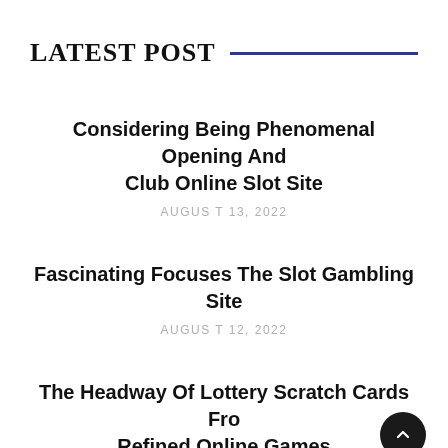LATEST POST
Considering Being Phenomenal Opening And Club Online Slot Site
AUGUST 13, 2022
Fascinating Focuses The Slot Gambling Site
AUGUST 12, 2022
The Headway Of Lottery Scratch Cards From Refined Online Games
JULY 28, 2022